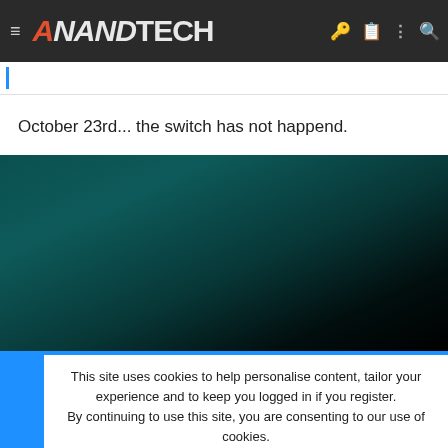AnandTech
October 23rd... the switch has not happend.
[Figure (photo): Dark teal/black gradient background image area]
This site uses cookies to help personalise content, tailor your experience and to keep you logged in if you register. By continuing to use this site, you are consenting to our use of cookies.